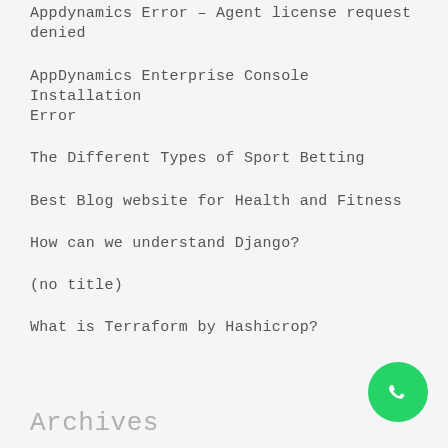Appdynamics Error – Agent license request denied
AppDynamics Enterprise Console Installation Error
The Different Types of Sport Betting
Best Blog website for Health and Fitness
How can we understand Django?
(no title)
What is Terraform by Hashicrop?
Archives